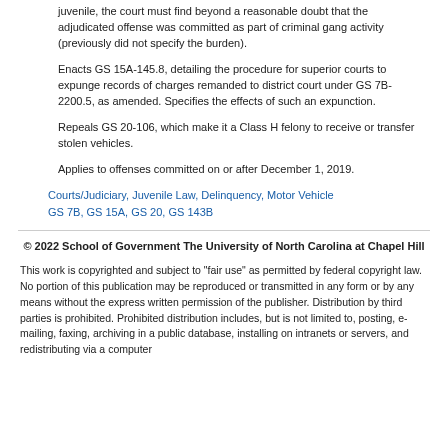juvenile, the court must find beyond a reasonable doubt that the adjudicated offense was committed as part of criminal gang activity (previously did not specify the burden).
Enacts GS 15A-145.8, detailing the procedure for superior courts to expunge records of charges remanded to district court under GS 7B-2200.5, as amended. Specifies the effects of such an expunction.
Repeals GS 20-106, which make it a Class H felony to receive or transfer stolen vehicles.
Applies to offenses committed on or after December 1, 2019.
Courts/Judiciary, Juvenile Law, Delinquency, Motor Vehicle
GS 7B, GS 15A, GS 20, GS 143B
© 2022 School of Government The University of North Carolina at Chapel Hill
This work is copyrighted and subject to "fair use" as permitted by federal copyright law. No portion of this publication may be reproduced or transmitted in any form or by any means without the express written permission of the publisher. Distribution by third parties is prohibited. Prohibited distribution includes, but is not limited to, posting, e-mailing, faxing, archiving in a public database, installing on intranets or servers, and redistributing via a computer